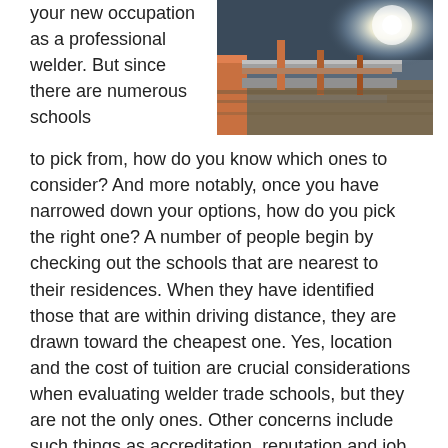your new occupation as a professional welder. But since there are numerous schools to pick from, how do you know which ones to consider? And more notably, once you have narrowed down your options, how do you pick the right one? A number of people begin by checking out the schools that are nearest to their residences. When they have identified those that are within driving distance, they are drawn toward the cheapest one. Yes, location and the cost of tuition are crucial considerations when evaluating welder trade schools, but they are not the only ones. Other concerns include such things as accreditation, reputation and job placement rates. So before starting your search for a trade school to become a welder, it's prudent to develop a list of qualifications that your selected school must have. But before we explore our due
[Figure (photo): A photograph of metal structural steel beams or pipes in an industrial welding or fabrication setting, showing a bright light source in the background.]